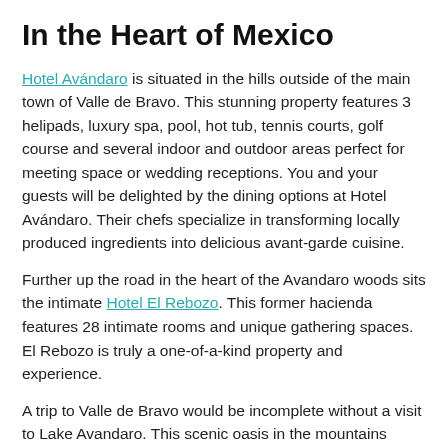In the Heart of Mexico
Hotel Avándaro is situated in the hills outside of the main town of Valle de Bravo. This stunning property features 3 helipads, luxury spa, pool, hot tub, tennis courts, golf course and several indoor and outdoor areas perfect for meeting space or wedding receptions. You and your guests will be delighted by the dining options at Hotel Avándaro. Their chefs specialize in transforming locally produced ingredients into delicious avant-garde cuisine.
Further up the road in the heart of the Avandaro woods sits the intimate Hotel El Rebozo. This former hacienda features 28 intimate rooms and unique gathering spaces. El Rebozo is truly a one-of-a-kind property and experience.
A trip to Valle de Bravo would be incomplete without a visit to Lake Avandaro. This scenic oasis in the mountains holds a number of restaurants, boutique shops and displays of